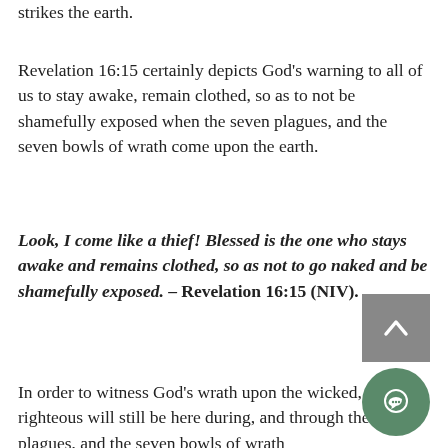strikes the earth.
Revelation 16:15 certainly depicts God's warning to all of us to stay awake, remain clothed, so as to not be shamefully exposed when the seven plagues, and the seven bowls of wrath come upon the earth.
Look, I come like a thief! Blessed is the one who stays awake and remains clothed, so as not to go naked and be shamefully exposed. – Revelation 16:15 (NIV).
In order to witness God's wrath upon the wicked, the righteous will still be here during, and through the seven plagues, and the seven bowls of wrath